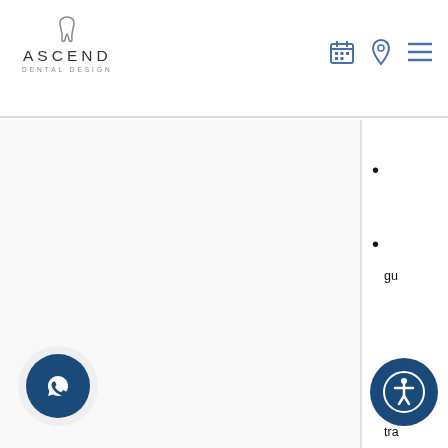ASCEND DENTAL DESIGN
gu
tra
If you n sympto Missour specialis concern